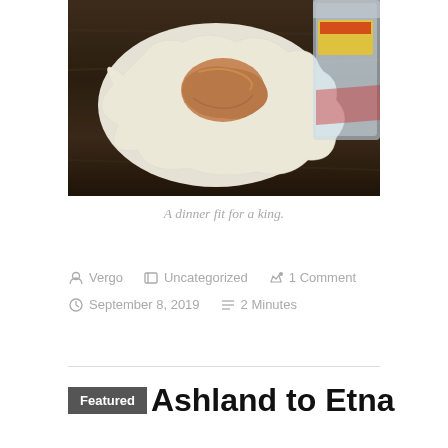[Figure (photo): A flour tortilla with peanut butter spread on it, lying on a wooden table surface, with a plastic bag visible to the right.]
A dinner fit for a king.
Vergo   Uncategorized   1 Comment   September 8, 2019   2 Minutes
Featured   Ashland to Etna